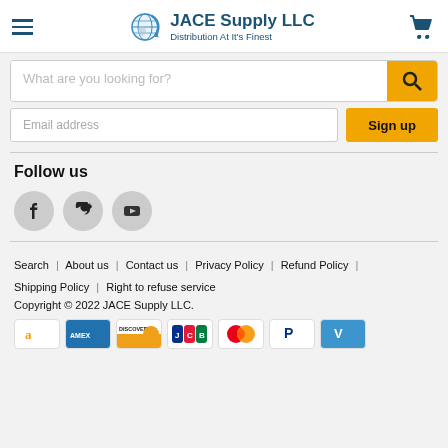JACE Supply LLC — Distribution At It's Finest
What are you looking for?
Email address | Sign up
Follow us
[Figure (illustration): Social media icons: Facebook, Twitter, YouTube]
Search | About us | Contact us | Privacy Policy | Refund Policy | Shipping Policy | Right to refuse service
Copyright © 2022 JACE Supply LLC.
[Figure (illustration): Payment method icons: Amazon, American Express, Discover, JCB, Mastercard, PayPal, Venmo]